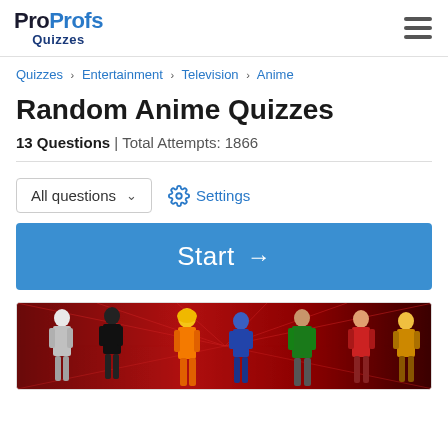ProProfs Quizzes
Quizzes > Entertainment > Television > Anime
Random Anime Quizzes
13 Questions | Total Attempts: 1866
All questions  Settings
Start →
[Figure (photo): Anime characters group illustration with colorful background]